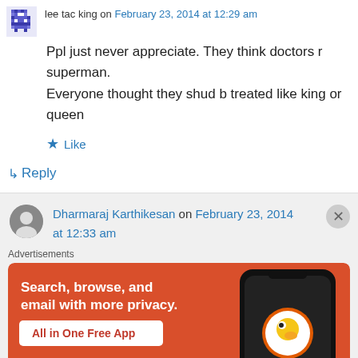lee tac king on February 23, 2014 at 12:29 am
Ppl just never appreciate. They think doctors r superman.
Everyone thought they shud b treated like king or queen
Like
Reply
Dharmaraj Karthikesan on February 23, 2014 at 12:33 am
[Figure (infographic): DuckDuckGo advertisement banner: orange background with white text 'Search, browse, and email with more privacy. All in One Free App' and a phone image showing DuckDuckGo logo]